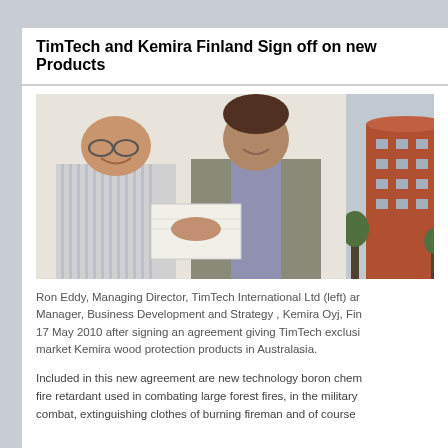TimTech and Kemira Finland Sign off on new Products
[Figure (photo): Two men shaking hands over a document/binder. Left man wearing striped shirt, right man wearing suit. Background is a plain white wall.]
[Figure (photo): Red/brown multi-storey cylindrical office building with trees in foreground.]
Ron Eddy, Managing Director, TimTech International Ltd (left) and Manager, Business Development and Strategy , Kemira Oyj, Fi... 17 May 2010 after signing an agreement giving TimTech exclusi... market Kemira wood protection products in Australasia.
Included in this new agreement are new technology boron chem... fire retardant used in combating large forest fires, in the military ... combat, extinguishing clothes of burning fireman and of course ...